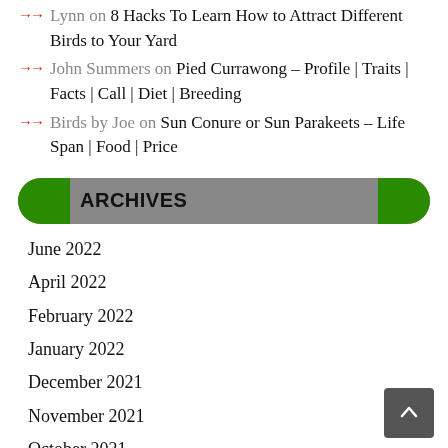Lynn on 8 Hacks To Learn How to Attract Different Birds to Your Yard
John Summers on Pied Currawong – Profile | Traits | Facts | Call | Diet | Breeding
Birds by Joe on Sun Conure or Sun Parakeets – Life Span | Food | Price
ARCHIVES
June 2022
April 2022
February 2022
January 2022
December 2021
November 2021
October 2021